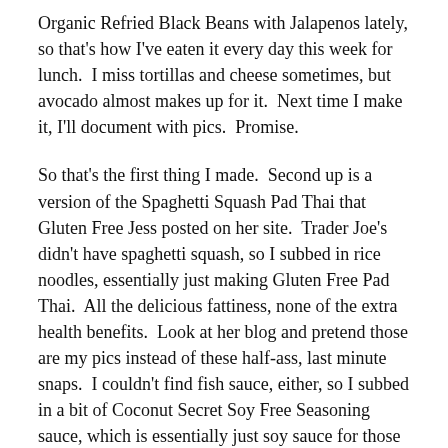Organic Refried Black Beans with Jalapenos lately, so that's how I've eaten it every day this week for lunch.  I miss tortillas and cheese sometimes, but avocado almost makes up for it.  Next time I make it, I'll document with pics.  Promise.
So that's the first thing I made.  Second up is a version of the Spaghetti Squash Pad Thai that Gluten Free Jess posted on her site.  Trader Joe's didn't have spaghetti squash, so I subbed in rice noodles, essentially just making Gluten Free Pad Thai.  All the delicious fattiness, none of the extra health benefits.  Look at her blog and pretend those are my pics instead of these half-ass, last minute snaps.  I couldn't find fish sauce, either, so I subbed in a bit of Coconut Secret Soy Free Seasoning sauce, which is essentially just soy sauce for those of us that can't actually eat anything.
I busted out a knife and actually chopped green onions, cilantro and chicken!  I had to show proof of knife skills, limited though they are.